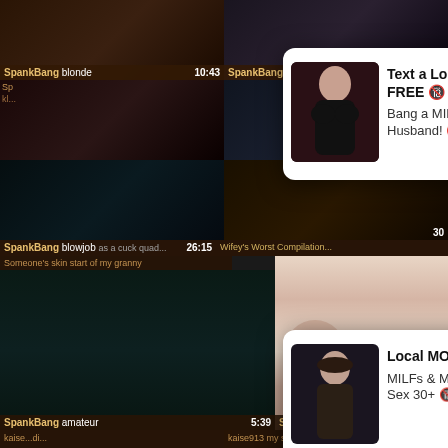[Figure (screenshot): Video thumbnail grid from SpankBang adult video site with popup ad overlays]
SpankBang blonde 10:43
SpankBang amateur 1:47:24
[Figure (infographic): Ad popup: Text a Lonely MOM & Fuck for FREE / Bang a MILF that Hates her Husband!]
[Figure (infographic): Ad popup: Local MOMs Need Sex / MILFs & MOMs looking for discreet Sex 30+]
SpankBang blowjob 26:15
Wifey's Worst Compilation
Someone's skin start of my granny
SpankBang amateur 5:39
SpankBang bbw 5:23